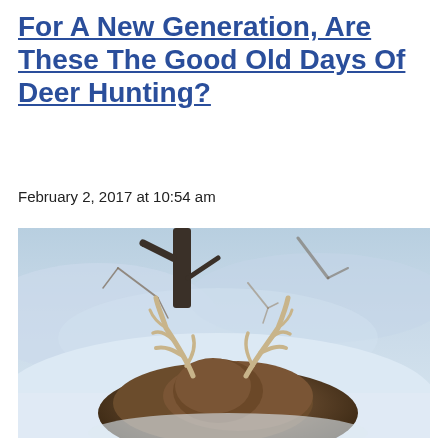For A New Generation, Are These The Good Old Days Of Deer Hunting?
February 2, 2017 at 10:54 am
[Figure (photo): A white-tailed buck deer lying in snow, viewed from above. The deer has a large antler rack visible. Bare winter tree branches and a dark tree trunk are visible in the snowy background. The scene is a winter outdoor setting with blue-white snow.]